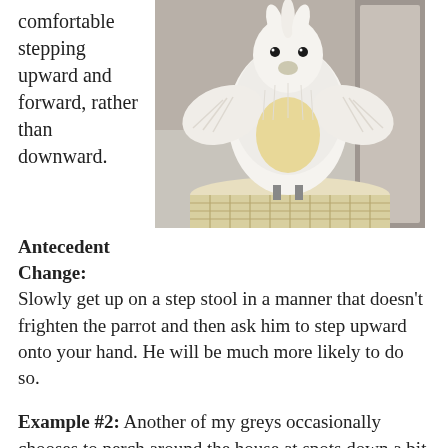comfortable stepping upward and forward, rather than downward.
[Figure (photo): A white cockatoo with wings spread perched on top of a white wicker cage or basket, photographed indoors.]
Antecedent Change:
Slowly get up on a step stool in a manner that doesn’t frighten the parrot and then ask him to step upward onto your hand. He will be much more likely to do so.
Example #2: Another of my greys occasionally chooses to perch around the house at spots down a bit lower, like the top of my step stool or the door to the dog crate. He often solicits head scratches from me while there, but I have learned he is a lot more